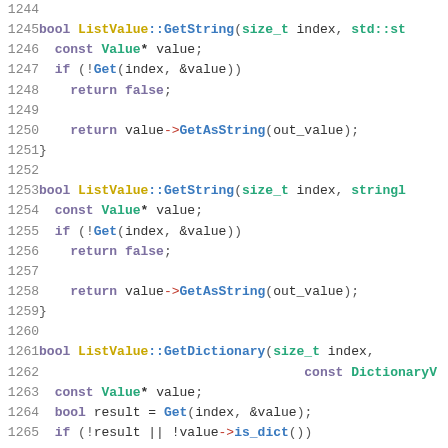Source code listing, lines 1244-1265, C++ implementation of ListValue methods GetString and GetDictionary